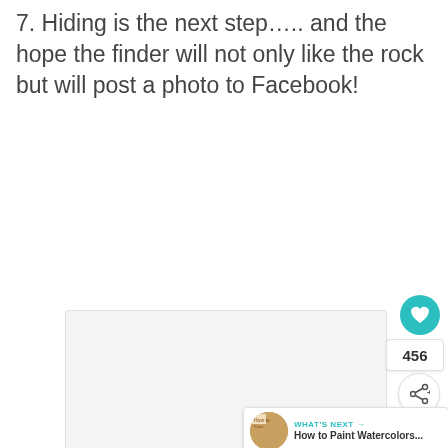7. Hiding is the next step….. and the hope the finder will not only like the rock but will post a photo to Facebook!
[Figure (photo): Placeholder image area with loading dots indicator]
[Figure (infographic): Social interaction panel with heart button (456 likes), share button, and 'What's Next' banner linking to 'How to Paint Watercolors...']